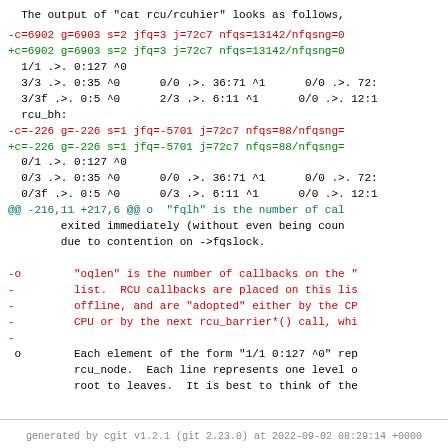The output of "cat rcu/rcuhier" looks as follows,
-c=6902 g=6903 s=2 jfq=3 j=72c7 nfqs=13142/nfqsng=0
+c=6902 g=6903 s=2 jfq=3 j=72c7 nfqs=13142/nfqsng=0
1/1 .>. 0:127 ^0
3/3 .>. 0:35 ^0      0/0 .>. 36:71 ^1      0/0 .>. 72:
3/3f .>. 0:5 ^0      2/3 .>. 6:11 ^1      0/0 .>. 12:1
rcu_bh:
-c=-226 g=-226 s=1 jfq=-5701 j=72c7 nfqs=88/nfqsng=
+c=-226 g=-226 s=1 jfq=-5701 j=72c7 nfqs=88/nfqsng=
0/1 .>. 0:127 ^0
0/3 .>. 0:35 ^0      0/0 .>. 36:71 ^1      0/0 .>. 72:
0/3f .>. 0:5 ^0      0/3 .>. 6:11 ^1      0/0 .>. 12:1
@@ -216,11 +217,6 @@ o  "fqlh" is the number of cal
exited immediately (without even being coun
due to contention on ->fqslock.
-o        "oqlen" is the number of callbacks on the "
-         list.  RCU callbacks are placed on this lis
-         offline, and are "adopted" either by the CP
-         CPU or by the next rcu_barrier*() call, whi
-
o        Each element of the form "1/1 0:127 ^0" rep
rcu_node.  Each line represents one level o
root to leaves.  It is best to think of the
generated by cgit v1.2.1 (git 2.23.0) at 2022-09-02 08:29:14 +0000